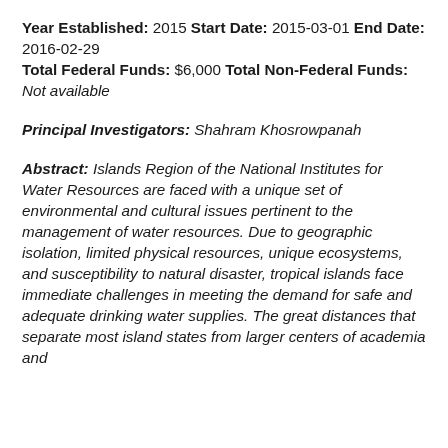Year Established: 2015 Start Date: 2015-03-01 End Date: 2016-02-29 Total Federal Funds: $6,000 Total Non-Federal Funds: Not available
Principal Investigators: Shahram Khosrowpanah
Abstract: Islands Region of the National Institutes for Water Resources are faced with a unique set of environmental and cultural issues pertinent to the management of water resources. Due to geographic isolation, limited physical resources, unique ecosystems, and susceptibility to natural disaster, tropical islands face immediate challenges in meeting the demand for safe and adequate drinking water supplies. The great distances that separate most island states from larger centers of academia and